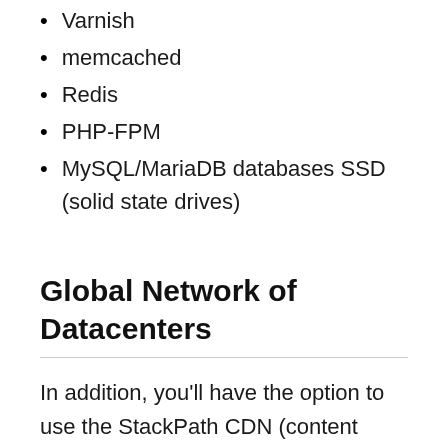Varnish
memcached
Redis
PHP-FPM
MySQL/MariaDB databases SSD (solid state drives)
Global Network of Datacenters
In addition, you'll have the option to use the StackPath CDN (content delivery network) which uses a global network of 65+ PoPs (points-of-presence). These nodes are able to store copies